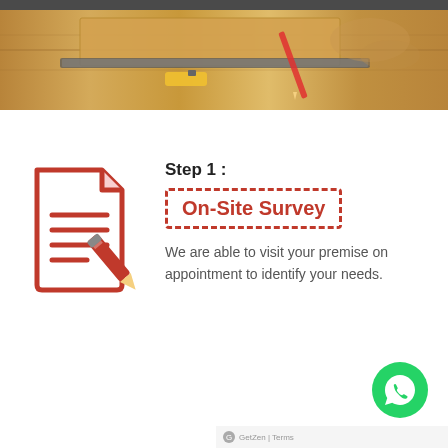[Figure (photo): Photo of hands working with wooden flooring panels and tools (pencil, ruler) on a light wooden surface]
Step 1 :
On-Site Survey
We are able to visit your premise on appointment to identify your needs.
[Figure (logo): WhatsApp green circle icon button in lower right corner]